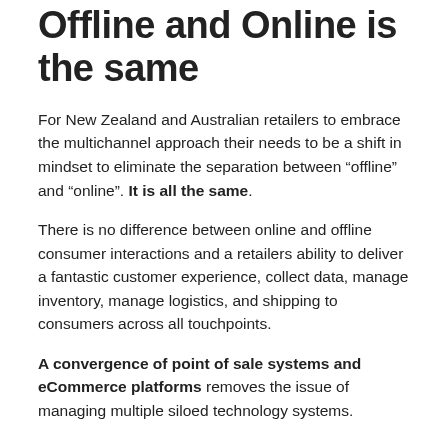Offline and Online is the same
For New Zealand and Australian retailers to embrace the multichannel approach their needs to be a shift in mindset to eliminate the separation between “offline” and “online”. It is all the same.
There is no difference between online and offline consumer interactions and a retailers ability to deliver a fantastic customer experience, collect data, manage inventory, manage logistics, and shipping to consumers across all touchpoints.
A convergence of point of sale systems and eCommerce platforms removes the issue of managing multiple siloed technology systems.
The Solution: single technology platforms